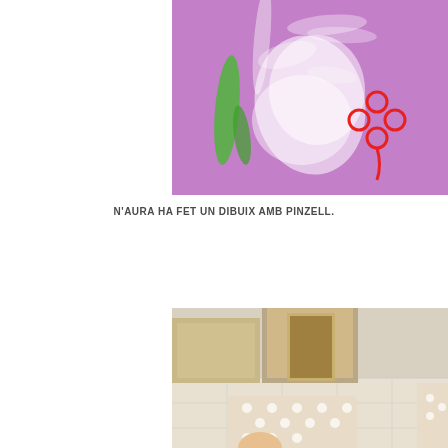[Figure (photo): A child's painting on a purple background with white brushstroke shapes and a red flower drawn with a paintbrush, plus green strokes on the left side.]
N'AURA HA FET UN DIBUIX AMB PINZELL.
[Figure (photo): A room scene showing a doorway/hallway with tiled floor and what appears to be a polka-dotted fabric or cushion in the foreground, along with a small child partially visible.]